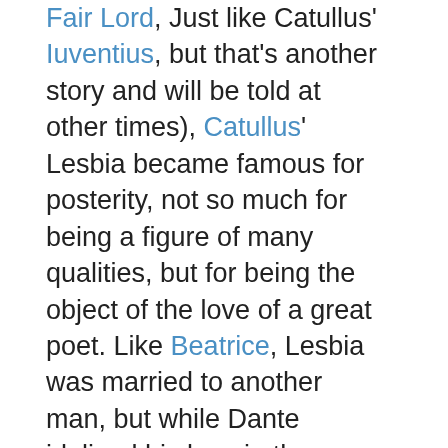Fair Lord, Just like Catullus' Iuventius, but that's another story and will be told at other times), Catullus' Lesbia became famous for posterity, not so much for being a figure of many qualities, but for being the object of the love of a great poet. Like Beatrice, Lesbia was married to another man, but while Dante idolized his love in the medieval tradition of courtly love, was blind to her faults, and in the courtly love tradition never actualized his love to her, Catullus was never blind to his love's failings, and like Shakespeare, snidely speaks of them. It is also worth mentioning that while Dante refers to his